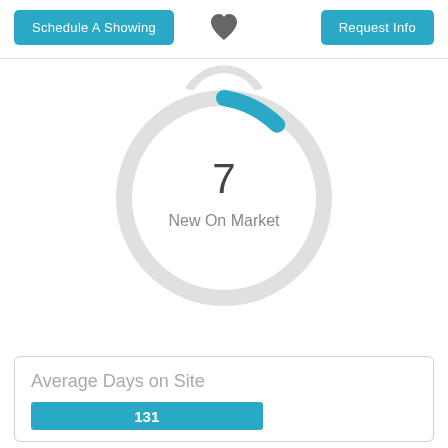Schedule A Showing
[Figure (other): Heart/favorite icon]
Request Info
[Figure (donut-chart): Donut/ring chart showing 7 New On Market, small blue arc on gray ring]
Average Days on Site